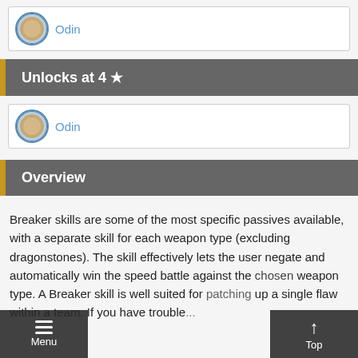[Figure (illustration): Avatar icon of Odin character with blue border]
Odin
Unlocks at 4 ★
[Figure (illustration): Avatar icon of Odin character with blue border]
Odin
Overview
Breaker skills are some of the most specific passives available, with a separate skill for each weapon type (excluding dragonstones). The skill effectively lets the user negate and automatically win the speed battle against the chosen weapon type. A Breaker skill is well suited for patching up a single flaw within a team. If you have trouble with a green mage, C Tomebreaker allows a unit to easily